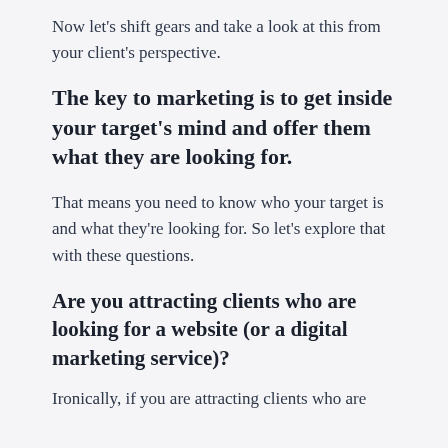Now let's shift gears and take a look at this from your client's perspective.
The key to marketing is to get inside your target's mind and offer them what they are looking for.
That means you need to know who your target is and what they're looking for. So let's explore that with these questions.
Are you attracting clients who are looking for a website (or a digital marketing service)?
Ironically, if you are attracting clients who are